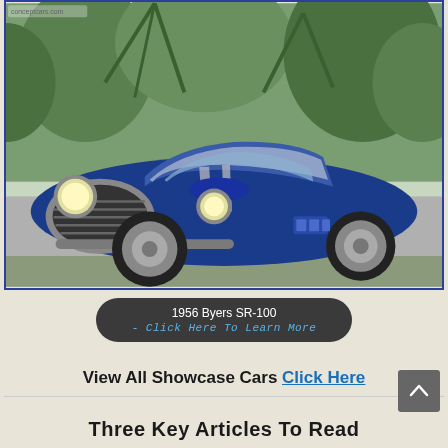[Figure (photo): A blue 1956 Byers SR-100 classic sports car photographed outdoors on a driveway with tropical plants in the background. The car has a distinctive oval grille, round headlights, and silver racing stripes on the hood.]
1956 Byers SR-100 - Click Here To Learn More
View All Showcase Cars Click Here
Three Key Articles To Read